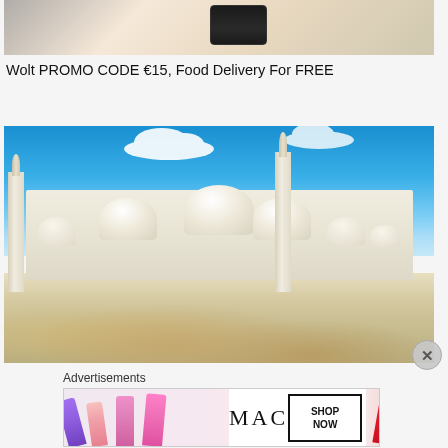[Figure (photo): Top portion of a photo showing a hand holding a smartphone, partially cropped at the top of the page]
Wolt PROMO CODE €15, Food Delivery For FREE
[Figure (photo): Photograph of a grand white mosque (Sheikh Zayed Grand Mosque) with multiple domes and minarets under a bright blue sky with white clouds, and a decorative courtyard in the foreground]
Advertisements
[Figure (photo): MAC cosmetics advertisement banner showing colorful lipsticks on the left side, MAC logo in the center, and a 'SHOP NOW' button box on the right with a red lipstick]